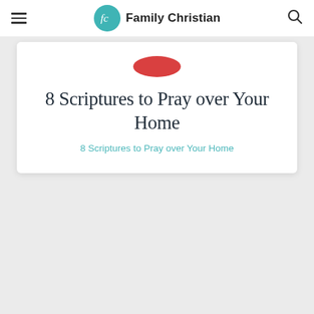Family Christian
8 Scriptures to Pray over Your Home
8 Scriptures to Pray over Your Home